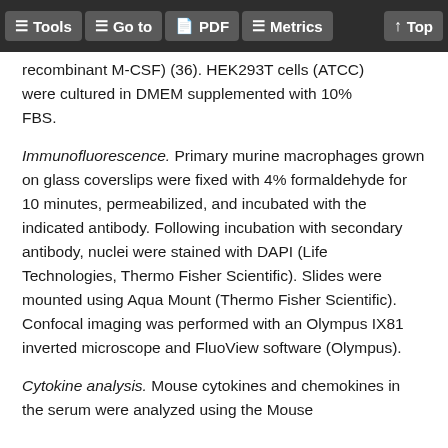Tools  Go to  PDF  Metrics  Top
recombinant M-CSF) (36). HEK293T cells (ATCC) were cultured in DMEM supplemented with 10% FBS.
Immunofluorescence. Primary murine macrophages grown on glass coverslips were fixed with 4% formaldehyde for 10 minutes, permeabilized, and incubated with the indicated antibody. Following incubation with secondary antibody, nuclei were stained with DAPI (Life Technologies, Thermo Fisher Scientific). Slides were mounted using Aqua Mount (Thermo Fisher Scientific). Confocal imaging was performed with an Olympus IX81 inverted microscope and FluoView software (Olympus).
Cytokine analysis. Mouse cytokines and chemokines in the serum were analyzed using the Mouse